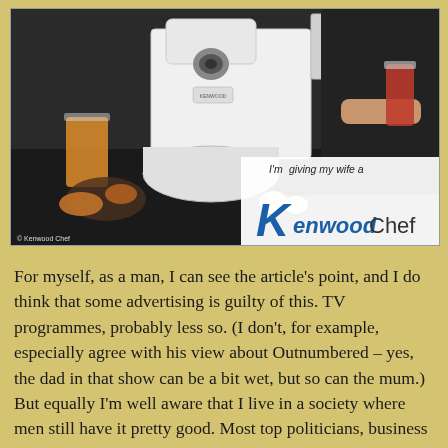[Figure (photo): Vintage Kenwood Chef advertisement showing a kitchen mixer with a woman in a black top holding a glass of red liquid, orange juice glass on the left, ingredients visible, with the slogan 'I'm giving my wife a Kenwood Chef' and the Kenwood logo. Copyright Kenwood Chef text at bottom left.]
For myself, as a man, I can see the article's point, and I do think that some advertising is guilty of this. TV programmes, probably less so. (I don't, for example, especially agree with his view about Outnumbered – yes, the dad in that show can be a bit wet, but so can the mum.) But equally I'm well aware that I live in a society where men still have it pretty good. Most top politicians, business executives and high earners still